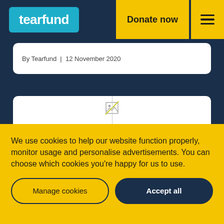tearfund | Donate now
By Tearfund | 12 November 2020
[Figure (photo): Partially loaded image card with a broken image icon in the center-top area and a vertical divider line splitting the card into two halves.]
We use cookies to help our website function properly, monitor usage and personalise advertisements. You can choose which cookies you're happy for us to use.
Manage cookies
Accept all